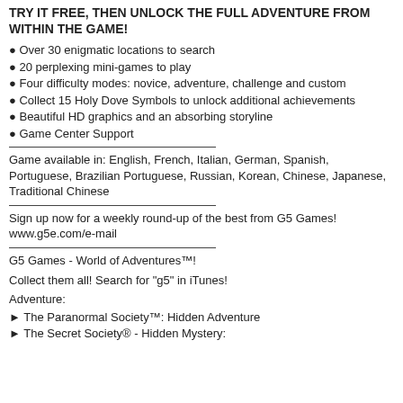TRY IT FREE, THEN UNLOCK THE FULL ADVENTURE FROM WITHIN THE GAME!
Over 30 enigmatic locations to search
20 perplexing mini-games to play
Four difficulty modes: novice, adventure, challenge and custom
Collect 15 Holy Dove Symbols to unlock additional achievements
Beautiful HD graphics and an absorbing storyline
Game Center Support
Game available in: English, French, Italian, German, Spanish, Portuguese, Brazilian Portuguese, Russian, Korean, Chinese, Japanese, Traditional Chinese
Sign up now for a weekly round-up of the best from G5 Games! www.g5e.com/e-mail
G5 Games - World of Adventures™!
Collect them all! Search for "g5" in iTunes!
Adventure:
► The Paranormal Society™: Hidden Adventure
► The Secret Society® - Hidden Mystery: